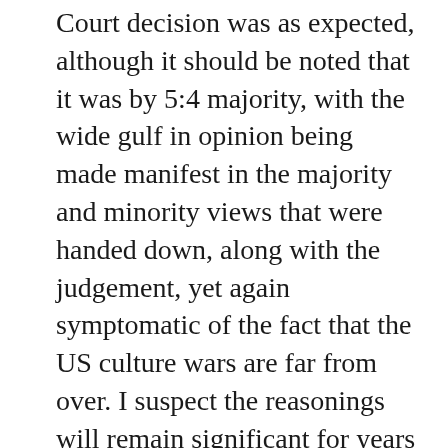Court decision was as expected, although it should be noted that it was by 5:4 majority, with the wide gulf in opinion being made manifest in the majority and minority views that were handed down, along with the judgement, yet again symptomatic of the fact that the US culture wars are far from over. I suspect the reasonings will remain significant for years to come, especially the minority one, if there is to be a reverse.  While it may be too early to say, this may come to have the same monumental impact in the future when it comes to same sex marriage as did the 1973 Roe v Wade judgment regarding abortion